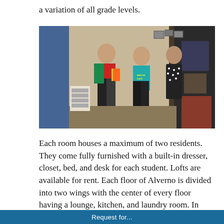a variation of all grade levels.
[Figure (photo): Three young women standing and laughing together inside a college dormitory room. One is wearing a red shirt with a backpack and holding papers, one is wearing a teal shirt, and one is wearing a black and white polka dot dress. The room has blue curtains and various personal items visible.]
Each room houses a maximum of two residents. They come fully furnished with a built-in dresser, closet, bed, and desk for each student. Lofts are available for rent. Each floor of Alverno is divided into two wings with the center of every floor having a lounge, kitchen, and laundry room. In
Request for...